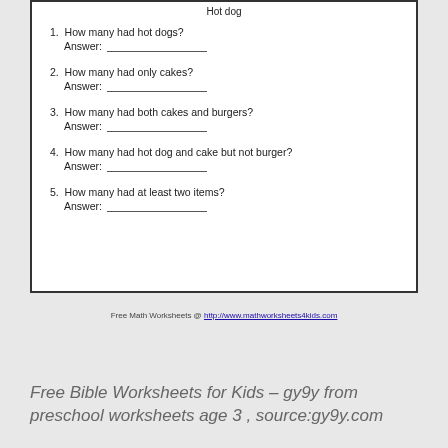Hot dog
1. How many had hot dogs?
   Answer: _______________
2. How many had only cakes?
   Answer: _______________
3. How many had both cakes and burgers?
   Answer: _______________
4. How many had hot dog and cake but not burger?
   Answer: _______________
5. How many had at least two items?
   Answer: _______________
Free Math Worksheets @ http://www.mathworksheets4kids.com
Free Bible Worksheets for Kids – gy9y from preschool worksheets age 3 , source:gy9y.com